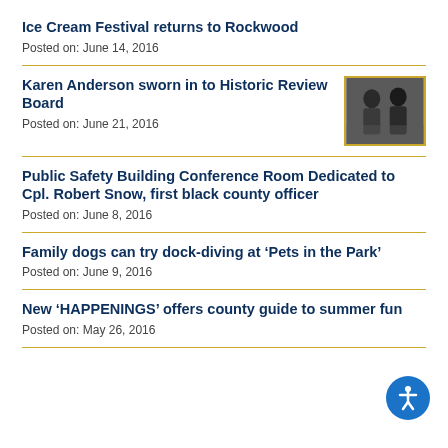Ice Cream Festival returns to Rockwood
Posted on: June 14, 2016
Karen Anderson sworn in to Historic Review Board
Posted on: June 21, 2016
[Figure (photo): Photo of two people at Karen Anderson swearing in ceremony]
Public Safety Building Conference Room Dedicated to Cpl. Robert Snow, first black county officer
Posted on: June 8, 2016
Family dogs can try dock-diving at ‘Pets in the Park’
Posted on: June 9, 2016
New ‘HAPPENINGS’ offers county guide to summer fun
Posted on: May 26, 2016